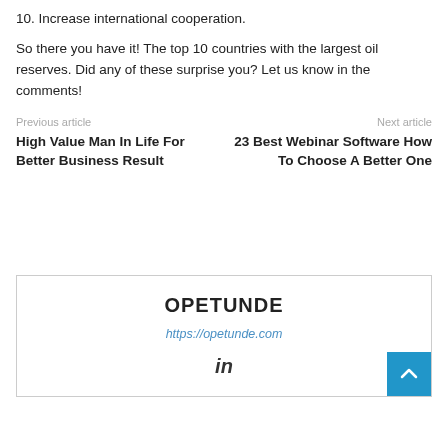10. Increase international cooperation.
So there you have it! The top 10 countries with the largest oil reserves. Did any of these surprise you? Let us know in the comments!
Previous article
High Value Man In Life For Better Business Result
Next article
23 Best Webinar Software How To Choose A Better One
OPETUNDE
https://opetunde.com